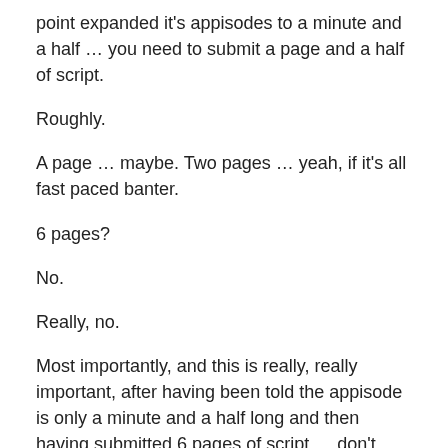point expanded it's appisodes to a minute and a half … you need to submit a page and a half of script.
Roughly.
A page … maybe. Two pages … yeah, if it's all fast paced banter.
6 pages?
No.
Really, no.
Most importantly, and this is really, really important, after having been told the appisode is only a minute and a half long and then having submitted 6 pages of script … don't claim it's a directorial issue.